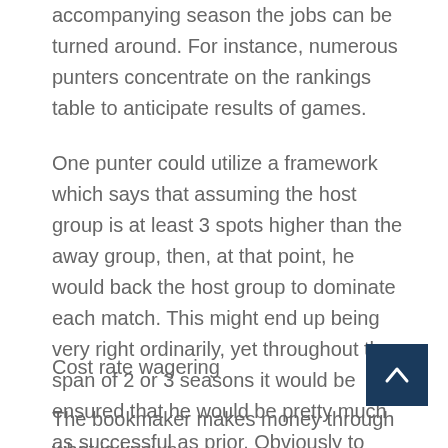accompanying season the jobs can be turned around. For instance, numerous punters concentrate on the rankings table to anticipate results of games.
One punter could utilize a framework which says that assuming the host group is at least 3 spots higher than the away group, then, at that point, he would back the host group to dominate each match. This might end up being very right ordinarily, yet throughout the span of 2 or 3 seasons it would be ensured that he would be pretty much as successful as prior. Obviously to refine this framework the punter would have to concentrate on current structure, objective contrast, injury issues in groups and so on and afterward balance this against the chances which are being proposed to him.
Cost rate wagering
The bookmaker makes money through what is known